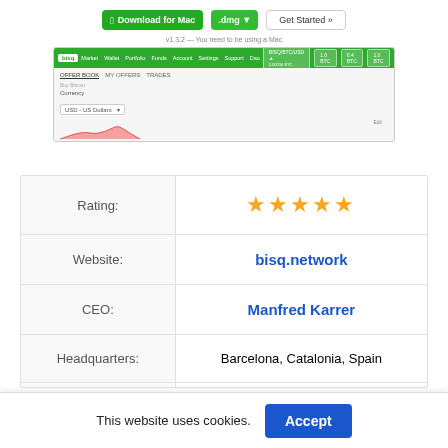[Figure (screenshot): Screenshot of a software download page showing 'Download for Mac' button with .dmg and Get Started options, followed by a mini browser view of what appears to be the Bisq exchange platform with navigation bar and currency chart]
| Label | Value |
| --- | --- |
| Rating: | ★★★★★ |
| Website: | bisq.network |
| CEO: | Manfred Karrer |
| Headquarters: | Barcelona, Catalonia, Spain |
| Founders: | Manfred Karrer |
This website uses cookies.
Accept